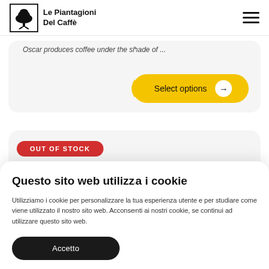Le Piantagioni Del Caffè
Oscar produces coffee under the shade of ...
Select options →
OUT OF STOCK
Questo sito web utilizza i cookie
Utilizziamo i cookie per personalizzare la tua esperienza utente e per studiare come viene utilizzato il nostro sito web. Acconsenti ai nostri cookie, se continui ad utilizzare questo sito web.
Accetto